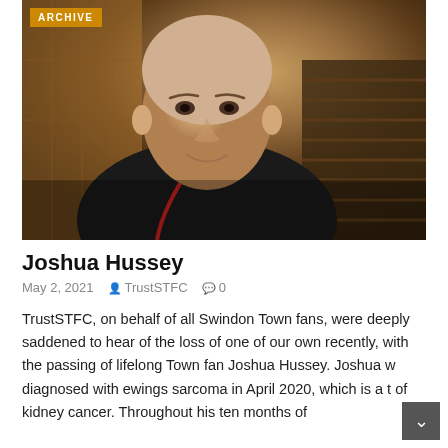[Figure (photo): A young man with a shaved head wearing a dark hoodie and a red lanyard, taking a selfie indoors near a staircase with wood-paneled walls.]
Joshua Hussey
May 2, 2021   TrustSTFC   0
TrustSTFC, on behalf of all Swindon Town fans, were deeply saddened to hear of the loss of one of our own recently, with the passing of lifelong Town fan Joshua Hussey. Joshua w diagnosed with ewings sarcoma in April 2020, which is a t of kidney cancer. Throughout his ten months of